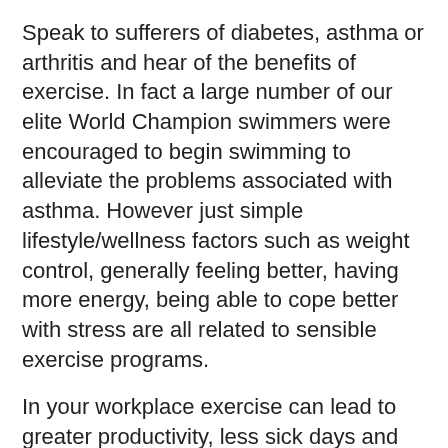Speak to sufferers of diabetes, asthma or arthritis and hear of the benefits of exercise. In fact a large number of our elite World Champion swimmers were encouraged to begin swimming to alleviate the problems associated with asthma. However just simple lifestyle/wellness factors such as weight control, generally feeling better, having more energy, being able to cope better with stress are all related to sensible exercise programs.
In your workplace exercise can lead to greater productivity, less sick days and greater self-esteem. What boss wouldn't want that?
Exercise – does it work? A resounding YES! For 10 out of 10 people.